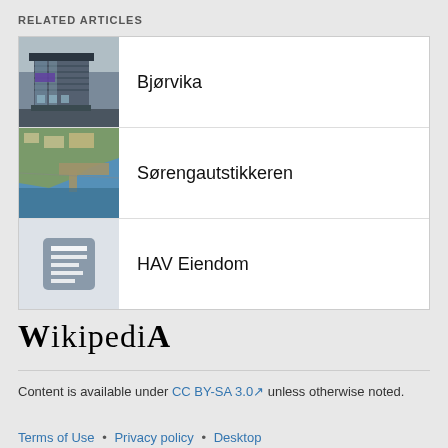RELATED ARTICLES
Bjørvika
Sørengautstikkeren
HAV Eiendom
[Figure (logo): Wikipedia logo text]
Content is available under CC BY-SA 3.0 unless otherwise noted.
Terms of Use • Privacy policy • Desktop